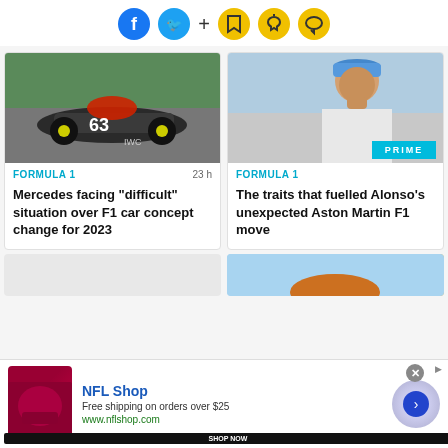[Figure (screenshot): Social media sharing icons bar: Facebook, Twitter, plus sign, bookmark, bell, chat bubble icons]
[Figure (photo): Mercedes F1 car #63 with red halo cover, IWC sponsorship, on track]
FORMULA 1   23 h
Mercedes facing "difficult" situation over F1 car concept change for 2023
[Figure (photo): Fernando Alonso in Aston Martin gear wearing blue Aramco cap, PRIME badge overlay]
FORMULA 1
The traits that fuelled Alonso's unexpected Aston Martin F1 move
[Figure (screenshot): NFL Shop advertisement banner: red helmet product image, Shop Now button, Free shipping on orders over $25, www.nflshop.com, blue arrow circle button]